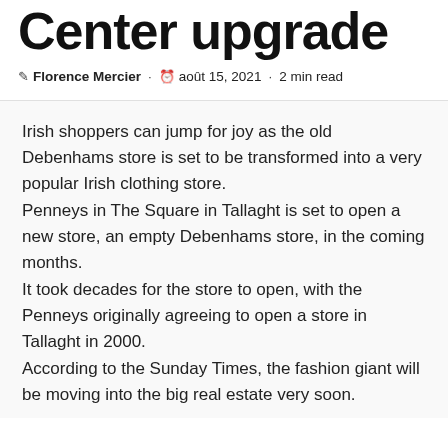Center upgrade
Florence Mercier · août 15, 2021 · 2 min read
Irish shoppers can jump for joy as the old Debenhams store is set to be transformed into a very popular Irish clothing store.
Penneys in The Square in Tallaght is set to open a new store, an empty Debenhams store, in the coming months.
It took decades for the store to open, with the Penneys originally agreeing to open a store in Tallaght in 2000.
According to the Sunday Times, the fashion giant will be moving into the big real estate very soon.